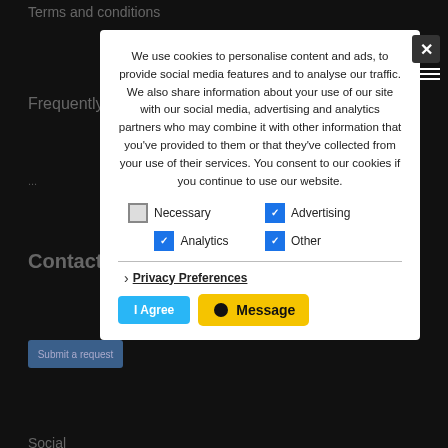[Figure (screenshot): Dark website background showing navigation links: Terms and conditions, Frequently asked questions, Contact, Submit a request, Social, Partners, with social media icons and partner logos partially visible]
We use cookies to personalise content and ads, to provide social media features and to analyse our traffic. We also share information about your use of our site with our social media, advertising and analytics partners who may combine it with other information that you've provided to them or that they've collected from your use of their services. You consent to our cookies if you continue to use our website.
Necessary
Advertising
Analytics
Other
Privacy Preferences
I Agree
Message